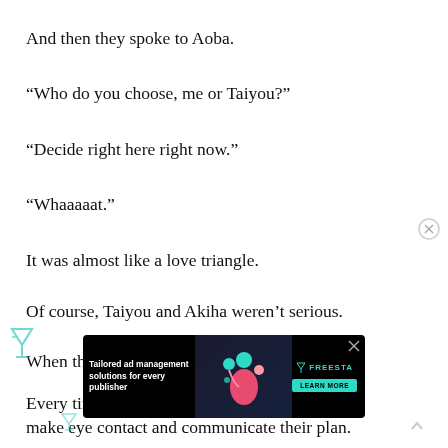And then they spoke to Aoba.
“Who do you choose, me or Taiyou?”
“Decide right here right now.”
“Whaaaaat.”
It was almost like a love triangle.
Of course, Taiyou and Akiha weren’t serious.
When they left the room, and right now.
Every time they had the opportunity they would make eye contact and communicate their plan.
[Figure (other): Advertisement banner for Freesta: 'Tailored ad management solutions for every publisher' with a Learn More button.]